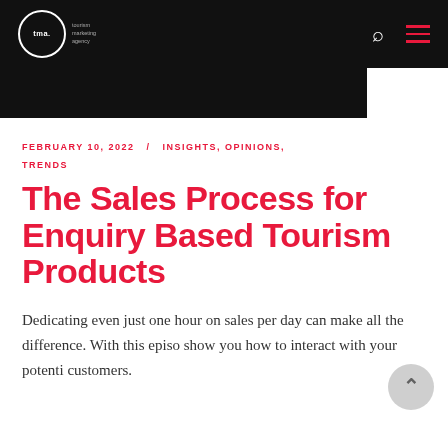tma. tourism marketing agency
FEBRUARY 10, 2022 / INSIGHTS, OPINIONS, TRENDS
The Sales Process for Enquiry Based Tourism Products
Dedicating even just one hour on sales per day can make all the difference. With this episo- show you how to interact with your potenti- customers.